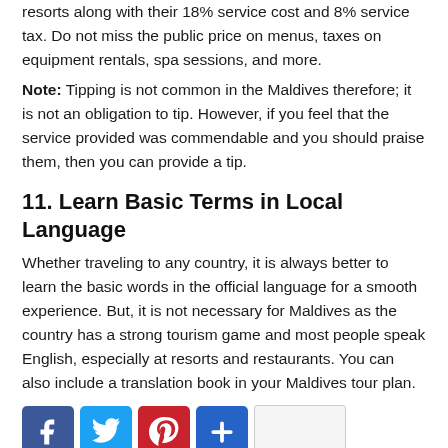resorts along with their 18% service cost and 8% service tax. Do not miss the public price on menus, taxes on equipment rentals, spa sessions, and more.
Note: Tipping is not common in the Maldives therefore; it is not an obligation to tip. However, if you feel that the service provided was commendable and you should praise them, then you can provide a tip.
11. Learn Basic Terms in Local Language
Whether traveling to any country, it is always better to learn the basic words in the official language for a smooth experience. But, it is not necessary for Maldives as the country has a strong tourism game and most people speak English, especially at resorts and restaurants. You can also include a translation book in your Maldives tour plan.
[Figure (infographic): Social sharing buttons: Facebook, Twitter, Pinterest, Share (plus icon), and an empty share box]
12. Buy a local sim card at the airport